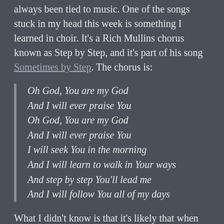always been tied to music. One of the songs stuck in my head this week is something I learned in choir. It's a Rich Mullins chorus known as Step by Step, and it's part of his song Sometimes by Step. The chorus is:
Oh God, You are my God
And I will ever praise You
Oh God, You are my God
And I will ever praise You
I will seek You in the morning
And I will learn to walk in Your ways
And step by step You'll lead me
And I will follow You all of my days
What I didn't know is that it's likely that when the choir sang this, Mullins was dead. You can